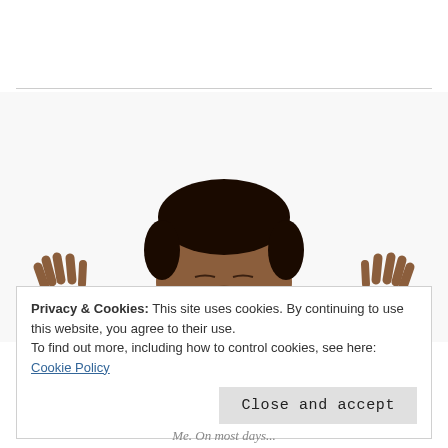[Figure (photo): A man in a dark suit with a mustache, eyes closed, hands raised near his sides with fingers spread, expression of contentment or exasperation, white background.]
Privacy & Cookies: This site uses cookies. By continuing to use this website, you agree to their use.
To find out more, including how to control cookies, see here: Cookie Policy
Close and accept
Me. On most days...